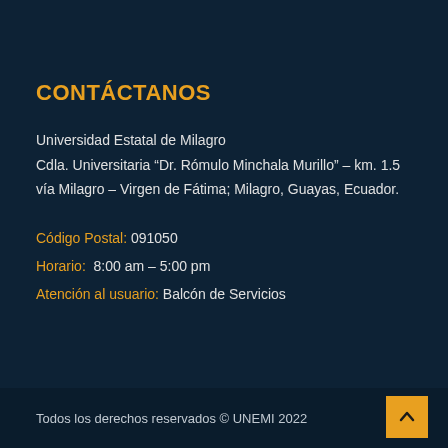CONTÁCTANOS
Universidad Estatal de Milagro
Cdla. Universitaria “Dr. Rómulo Minchala Murillo” – km. 1.5
vía Milagro – Virgen de Fátima; Milagro, Guayas, Ecuador.
Código Postal: 091050
Horario: 8:00 am – 5:00 pm
Atención al usuario: Balcón de Servicios
Todos los derechos reservados © UNEMI 2022